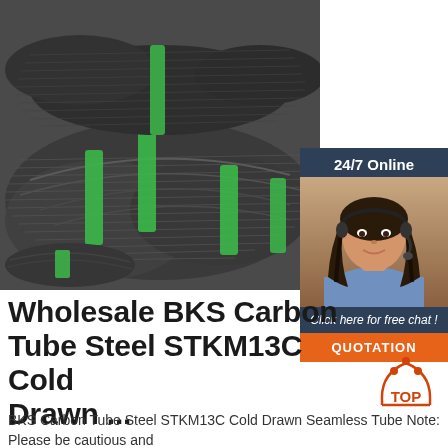[Figure (photo): Photo of bundled steel wire coils/rods bound with green straps, stacked in a warehouse]
[Figure (photo): 24/7 Online chat widget with a female customer service agent wearing a headset, with 'Click here for free chat!' text and an orange QUOTATION button]
Wholesale BKS Carbon Tube Steel STKM13C Cold Drawn ...
[Figure (other): Orange TOP navigation icon with upward arrow dots]
BKS Carbon Tube Steel STKM13C Cold Drawn Seamless Tube Note: Please be cautious and